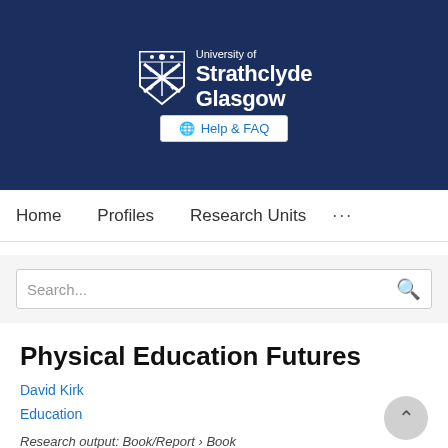[Figure (logo): University of Strathclyde Glasgow logo with crest on dark navy blue background, including Help & FAQ button]
Home   Profiles   Research Units   ...
Search...
Physical Education Futures
David Kirk
Education
Research output: Book/Report › Book